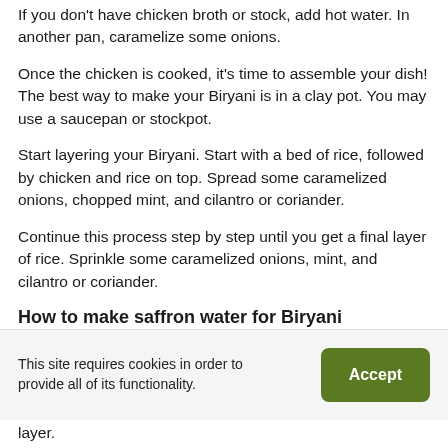If you don't have chicken broth or stock, add hot water. In another pan, caramelize some onions.
Once the chicken is cooked, it's time to assemble your dish! The best way to make your Biryani is in a clay pot. You may use a saucepan or stockpot.
Start layering your Biryani. Start with a bed of rice, followed by chicken and rice on top. Spread some caramelized onions, chopped mint, and cilantro or coriander.
Continue this process step by step until you get a final layer of rice. Sprinkle some caramelized onions, mint, and cilantro or coriander.
How to make saffron water for Biryani
One pinch of this red spice 10 to 12 strands threads in a cup of water with a pinch of sugar and salt.
You can also use milk instead of water.
layer.